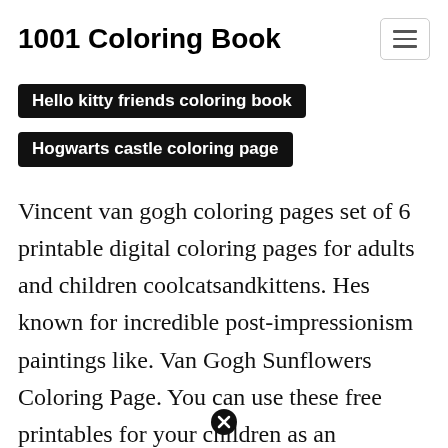1001 Coloring Book
Hello kitty friends coloring book
Hogwarts castle coloring page
Vincent van gogh coloring pages set of 6 printable digital coloring pages for adults and children coolcatsandkittens. Hes known for incredible post-impressionism paintings like. Van Gogh Sunflowers Coloring Page. You can use these free printables for your children as an